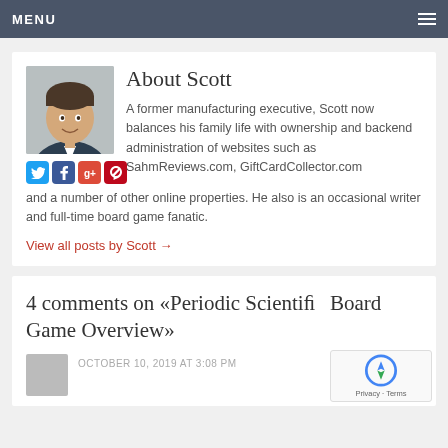MENU
About Scott
[Figure (photo): Profile photo of Scott, a man in a suit smiling]
A former manufacturing executive, Scott now balances his family life with ownership and backend administration of websites such as SahmReviews.com, GiftCardCollector.com and a number of other online properties. He also is an occasional writer and full-time board game fanatic.
View all posts by Scott →
4 comments on «Periodic Scientifi... Board Game Overview»
OCTOBER 10, 2019 AT 3:08 PM